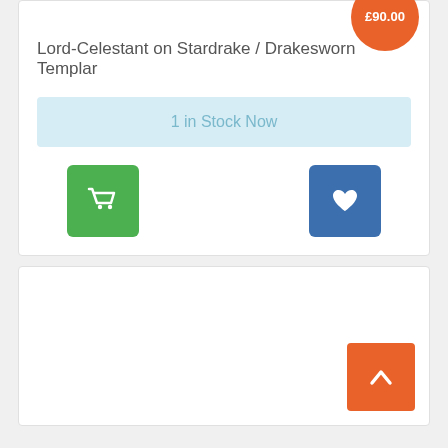£90.00
Lord-Celestant on Stardrake / Drakesworn Templar
1 in Stock Now
[Figure (other): Green shopping cart button and blue wishlist heart button]
[Figure (other): Orange scroll-to-top button with chevron up arrow]